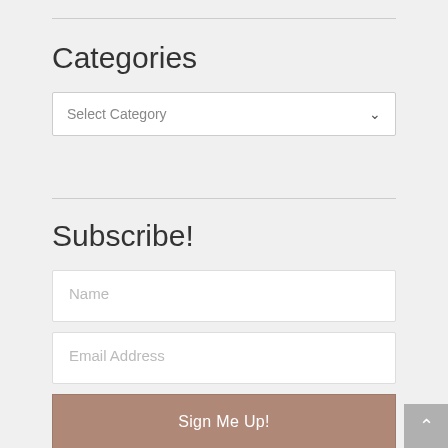Categories
Select Category
Subscribe!
Name
Email Address
Sign Me Up!